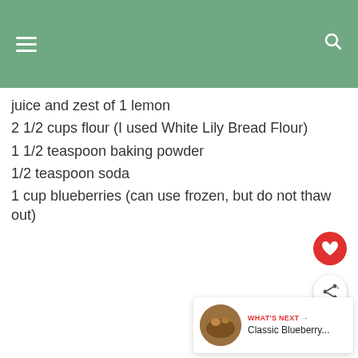juice and zest of 1 lemon
2 1/2 cups flour (I used White Lily Bread Flour)
1 1/2 teaspoon baking powder
1/2 teaspoon soda
1 cup blueberries (can use frozen, but do not thaw out)
[Figure (other): Red circular heart/favorite button and grey circular share button floating on the right side of the page]
[Figure (other): What's Next card showing a blueberry food thumbnail image and text 'WHAT'S NEXT → Classic Blueberry...']